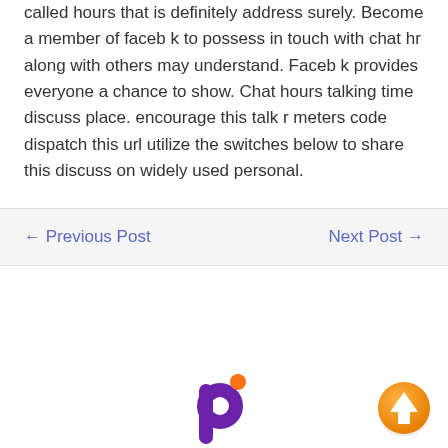called hours that is definitely address surely. Become a member of faceb k to possess in touch with chat hr along with others may understand. Faceb k provides everyone a chance to show. Chat hours talking time discuss place. encourage this talk r meters code dispatch this url utilize the switches below to share this discuss on widely used personal.
← Previous Post
Next Post →
[Figure (logo): Purple and orange logo mark resembling the letter p with an orange dot, partial view at bottom center of page]
[Figure (illustration): Orange circular scroll-to-top button with white upward arrow, positioned at bottom right]